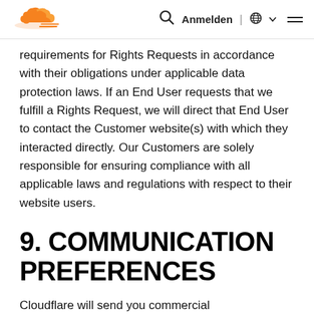Cloudflare navigation bar with logo, search, Anmelden, globe/language selector, and hamburger menu
requirements for Rights Requests in accordance with their obligations under applicable data protection laws. If an End User requests that we fulfill a Rights Request, we will direct that End User to contact the Customer website(s) with which they interacted directly. Our Customers are solely responsible for ensuring compliance with all applicable laws and regulations with respect to their website users.
9. COMMUNICATION PREFERENCES
Cloudflare will send you commercial communications based on the communication preferences in your account settings. Cloudflare also will send you service-